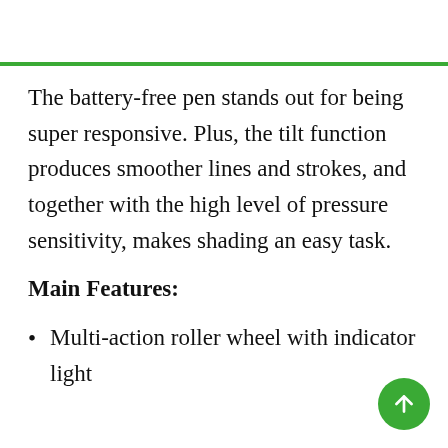The battery-free pen stands out for being super responsive. Plus, the tilt function produces smoother lines and strokes, and together with the high level of pressure sensitivity, makes shading an easy task.
Main Features:
Multi-action roller wheel with indicator light